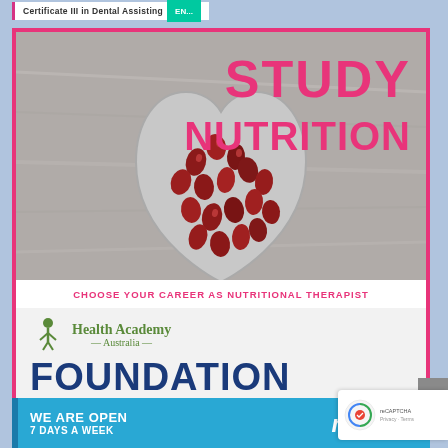Certificate III in Dental Assisting
[Figure (illustration): Advertisement for Health Academy Australia nutrition course. Shows a heart-shaped bowl filled with pomegranate seeds on a grey marble background. Text overlay reads STUDY NUTRITION in bold pink. Below the image: CHOOSE YOUR CAREER AS NUTRITIONAL THERAPIST. Then Health Academy Australia logo followed by FOUNDATION DIPLOMA in large dark blue text with pink decorative dots.]
CHOOSE YOUR CAREER AS NUTRITIONAL THERAPIST
FOUNDATION DIPLOMA
[Figure (logo): Health Academy Australia logo with green tree/figure icon]
WE ARE OPEN
7 DAYS A WEEK
[Figure (logo): medco+ logo in white italic text on blue background]